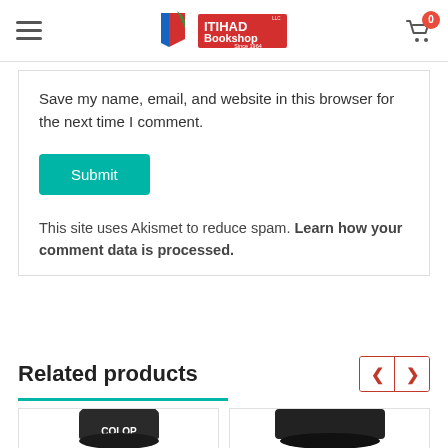ITIHAD Bookshop Since 1964
Save my name, email, and website in this browser for the next time I comment.
Submit
This site uses Akismet to reduce spam. Learn how your comment data is processed.
Related products
[Figure (photo): Two product images partially visible at the bottom: a COLOP round self-inking stamp and another black stamp product]
[Figure (photo): Second stamp product partially visible]